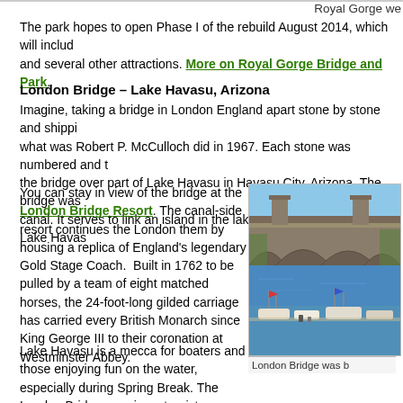Royal Gorge we
The park hopes to open Phase I of the rebuild August 2014, which will includ and several other attractions. More on Royal Gorge Bridge and Park.
London Bridge – Lake Havasu, Arizona
Imagine, taking a bridge in London England apart stone by stone and shippi what was Robert P. McCulloch did in 1967. Each stone was numbered and th the bridge over part of Lake Havasu in Havasu City, Arizona. The bridge was canal. It serves to link an island in the lake with the main part of Lake Havas
You can stay in view of the bridge at the London Bridge Resort. The canal-side resort continues the London them by housing a replica of England's legendary Gold Stage Coach.  Built in 1762 to be pulled by a team of eight matched horses, the 24-foot-long gilded carriage has carried every British Monarch since King George III to their coronation at Westminster Abbey.
[Figure (photo): Photo of London Bridge at Lake Havasu with boats in the foreground and the stone bridge arches visible in the background]
London Bridge was b
Lake Havasu is a mecca for boaters and those enjoying fun on the water, especially during Spring Break. The London Bridge remains a tourist attraction.